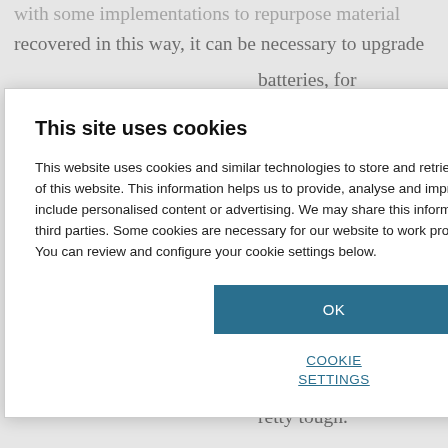with some implementations to repurpose material recovered in this way, it can be necessary to upgrade
batteries, for portion of nickel hing which the necessary to vered material . s team are ; the nickel e. 'The speed at its charge – the e more slowly it e're trying to nd forth and get retty tough.'
This site uses cookies
This website uses cookies and similar technologies to store and retrieve information about your use of this website. This information helps us to provide, analyse and improve our services, which may include personalised content or advertising. We may share this information with Google and other third parties. Some cookies are necessary for our website to work properly and others are optional. You can review and configure your cookie settings below.
OK
COOKIE SETTINGS